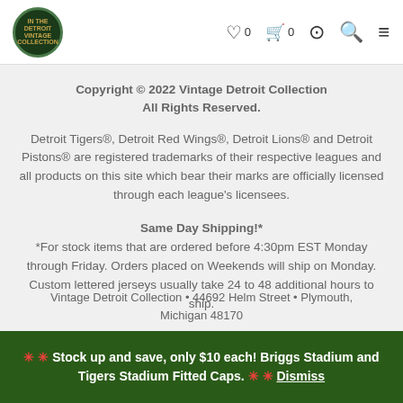Detroit Vintage Collection logo, wishlist 0, cart 0, account, search, menu
Copyright © 2022 Vintage Detroit Collection All Rights Reserved.
Detroit Tigers®, Detroit Red Wings®, Detroit Lions® and Detroit Pistons® are registered trademarks of their respective leagues and all products on this site which bear their marks are officially licensed through each league's licensees.
Same Day Shipping!* *For stock items that are ordered before 4:30pm EST Monday through Friday. Orders placed on Weekends will ship on Monday. Custom lettered jerseys usually take 24 to 48 additional hours to ship.
[Figure (infographic): Google rating widget showing 4.7 stars out of 5 with orange star icons and Google label]
Vintage Detroit Collection • 44692 Helm Street • Plymouth, Michigan 48170
✳ ✳ Stock up and save, only $10 each! Briggs Stadium and Tigers Stadium Fitted Caps. ✳ ✳ Dismiss